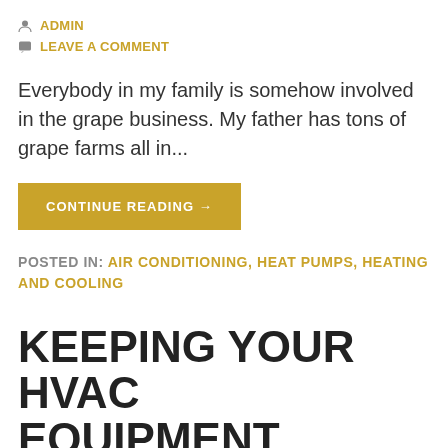ADMIN
LEAVE A COMMENT
Everybody in my family is somehow involved in the grape business. My father has tons of grape farms all in...
CONTINUE READING →
POSTED IN: AIR CONDITIONING, HEAT PUMPS, HEATING AND COOLING
KEEPING YOUR HVAC EQUIPMENT CLEAN